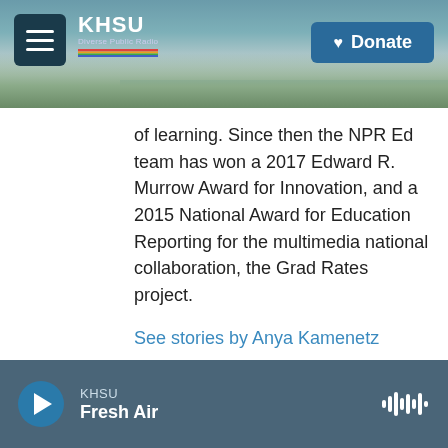[Figure (screenshot): KHSU public radio website header with beach/coastal landscape background, hamburger menu button, KHSU logo, and Donate button]
of learning. Since then the NPR Ed team has won a 2017 Edward R. Murrow Award for Innovation, and a 2015 National Award for Education Reporting for the multimedia national collaboration, the Grad Rates project.
See stories by Anya Kamenetz
KHSU Fresh Air